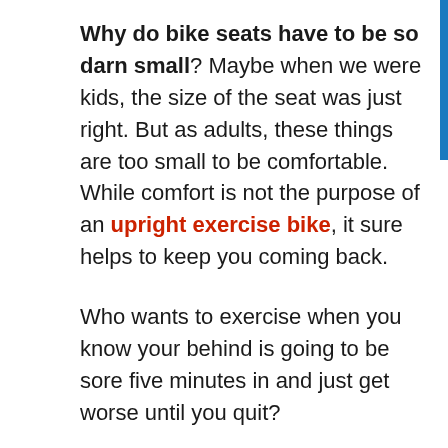Why do bike seats have to be so darn small? Maybe when we were kids, the size of the seat was just right. But as adults, these things are too small to be comfortable. While comfort is not the purpose of an upright exercise bike, it sure helps to keep you coming back.
Who wants to exercise when you know your behind is going to be sore five minutes in and just get worse until you quit?